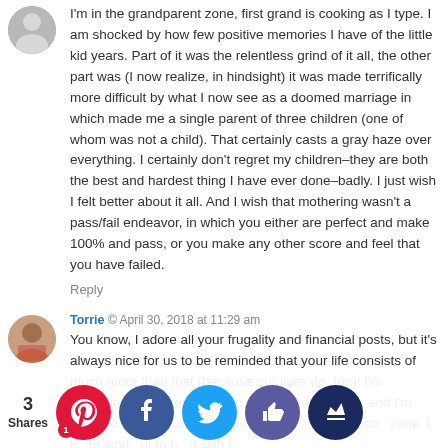I'm in the grandparent zone, first grand is cooking as I type. I am shocked by how few positive memories I have of the little kid years. Part of it was the relentless grind of it all, the other part was (I now realize, in hindsight) it was made terrifically more difficult by what I now see as a doomed marriage in which made me a single parent of three children (one of whom was not a child). That certainly casts a gray haze over everything. I certainly don't regret my children–they are both the best and hardest thing I have ever done–badly. I just wish I felt better about it all. And I wish that mothering wasn't a pass/fail endeavor, in which you either are perfect and make 100% and pass, or you make any other score and feel that you have failed.
Reply
Torrie © April 30, 2018 at 11:29 am
You know, I adore all your frugality and financial posts, but it's always nice for us to be reminded that your life consists of much more than that (because our lives do, too)! I'm expecting my second child in a couple of months, and I'm trying to "lean in...ch as...this l...e of b...my cur...co...zone. I h...ur worl...ut to b...d with t